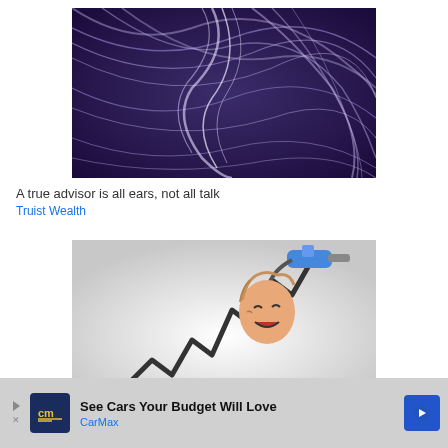[Figure (illustration): Abstract purple and blue swirling light streaks on dark background, decorative image for Truist Wealth advertisement]
A true advisor is all ears, not all talk
Truist Wealth
[Figure (illustration): Cartoon/caricature illustration of a distressed person being struck by a blue gas pump nozzle shaped like a rising zigzag price chart, representing gas price pain]
[Figure (other): CarMax advertisement banner: See Cars Your Budget Will Love - CarMax logo in dark blue square with 'cm' text]